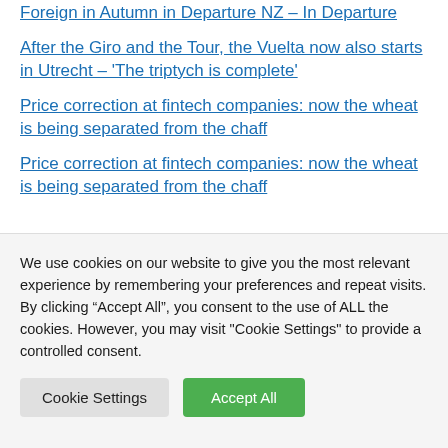Foreign in Autumn in Departure NZ – In Departure
After the Giro and the Tour, the Vuelta now also starts in Utrecht – 'The triptych is complete'
Price correction at fintech companies: now the wheat is being separated from the chaff
Price correction at fintech companies: now the wheat is being separated from the chaff
We use cookies on our website to give you the most relevant experience by remembering your preferences and repeat visits. By clicking "Accept All", you consent to the use of ALL the cookies. However, you may visit "Cookie Settings" to provide a controlled consent.